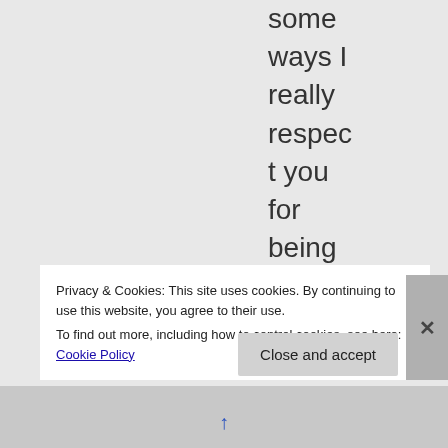some ways I really respect you for being a straightforward and
Privacy & Cookies: This site uses cookies. By continuing to use this website, you agree to their use.
To find out more, including how to control cookies, see here: Cookie Policy
Close and accept